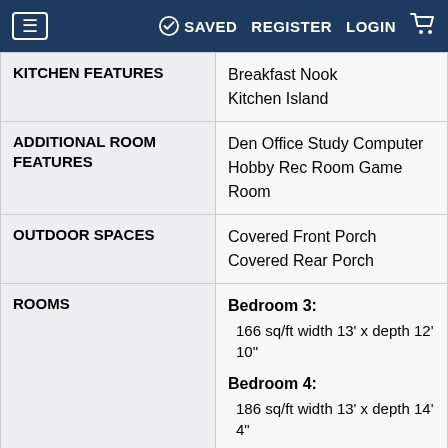≡  ✓ SAVED  REGISTER  LOGIN  🛒
| Feature | Value |
| --- | --- |
| KITCHEN FEATURES | Breakfast Nook
Kitchen Island |
| ADDITIONAL ROOM FEATURES | Den Office Study Computer
Hobby Rec Room Game Room |
| OUTDOOR SPACES | Covered Front Porch
Covered Rear Porch |
| ROOMS | Bedroom 3: 166 sq/ft width 13' x depth 12' 10"
Bedroom 4: 186 sq/ft width 13' x depth 14' 4"
Bedroom 5: 186 sq/ft width 13' x ... |